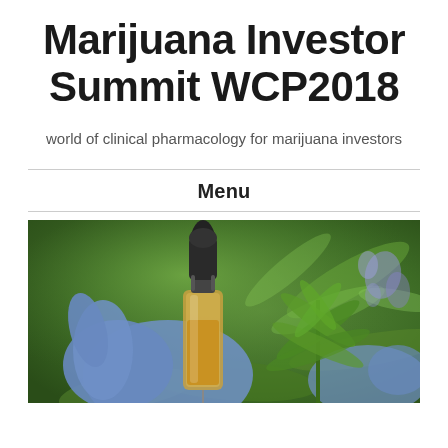Marijuana Investor Summit WCP2018
world of clinical pharmacology for marijuana investors
Menu
[Figure (photo): A gloved hand (blue latex glove) holding a small glass dropper bottle filled with amber/golden liquid (CBD oil or cannabis extract), with a green cannabis plant and purple flowers in the background, in an outdoor garden setting.]